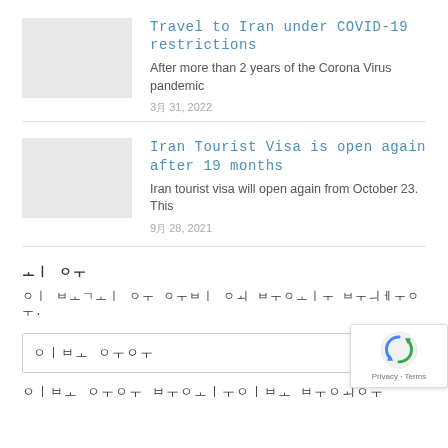[Figure (photo): Thumbnail placeholder image (gray box) for article about Travel to Iran under COVID-19 restrictions]
Travel to Iran under COVID-19 restrictions
After more than 2 years of the Corona Virus pandemic
3月 31, 2022
[Figure (photo): Thumbnail placeholder image (gray box) for article about Iran Tourist Visa is open again after 19 months]
Iran Tourist Visa is open again after 19 months
Iran tourist visa will open again from October 23. This
9月 28, 2021
최근 댓글
이 블로그의 콘텐츠를 구성하는 미디어 파일입니다.
이메일 주소
이메일 주소가 올바르지 않습니다